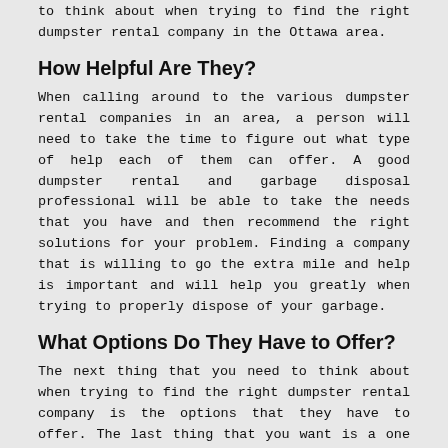to think about when trying to find the right dumpster rental company in the Ottawa area.
How Helpful Are They?
When calling around to the various dumpster rental companies in an area, a person will need to take the time to figure out what type of help each of them can offer. A good dumpster rental and garbage disposal professional will be able to take the needs that you have and then recommend the right solutions for your problem. Finding a company that is willing to go the extra mile and help is important and will help you greatly when trying to properly dispose of your garbage.
What Options Do They Have to Offer?
The next thing that you need to think about when trying to find the right dumpster rental company is the options that they have to offer. The last thing that you want is a one size fits all plan when you need a customized fit. Finding a company that is able to work with what your needs are can make a